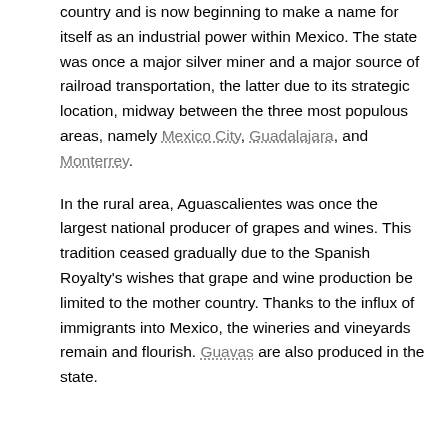country and is now beginning to make a name for itself as an industrial power within Mexico. The state was once a major silver miner and a major source of railroad transportation, the latter due to its strategic location, midway between the three most populous areas, namely Mexico City, Guadalajara, and Monterrey.
In the rural area, Aguascalientes was once the largest national producer of grapes and wines. This tradition ceased gradually due to the Spanish Royalty's wishes that grape and wine production be limited to the mother country. Thanks to the influx of immigrants into Mexico, the wineries and vineyards remain and flourish. Guavas are also produced in the state.